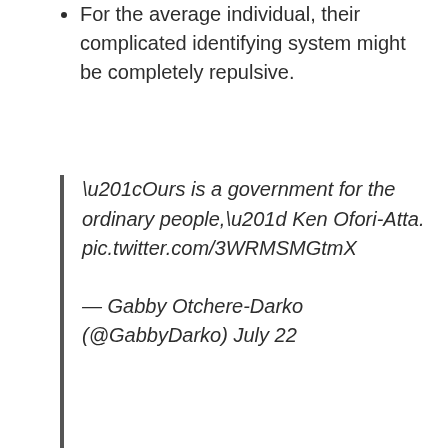For the average individual, their complicated identifying system might be completely repulsive.
“Ours is a government for the ordinary people,” Ken Ofori-Atta. pic.twitter.com/3WRMSMGtmX
— Gabby Otchere-Darko (@GabbyDarko) July 22